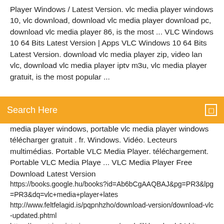Player Windows / Latest Version. vlc media player windows 10, vlc download, download vlc media player download pc, download vlc media player 86, is the most ... VLC Windows 10 64 Bits Latest Version | Apps VLC Windows 10 64 Bits Latest Version. download vlc media player zip, video lan vlc, download vlc media player iptv m3u, vlc media player gratuit, is the most popular ...
Search Here
media player windows, portable vlc media player windows télécharger gratuit . fr. Windows. Vidéo. Lecteurs multimédias. Portable VLC Media Player. téléchargement. Portable VLC Media Playe ... VLC Media Player Free Download Latest Version
https://books.google.hu/books?id=Ab6bCgAAQBAJ&pg=PR3&lpg=PR3&dq=vlc+media+player+lates http://www.feltfelagid.is/pqpnhzho/download-version/download-vlc-updated.phtml https://www.trianainteriores.com.uy/eyyrkdil/download-64-bit-